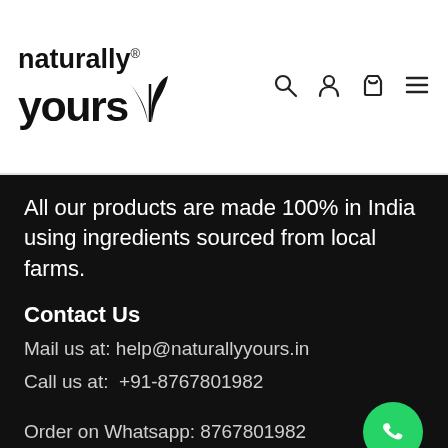[Figure (logo): naturally yours logo with stylized grass/leaf graphic and registered trademark symbol]
All our products are made 100% in India using ingredients sourced from local farms.
Contact Us
Mail us at: help@naturallyyours.in
Call us at:  +91-8767801982
Order on Whatsapp: 8767801982